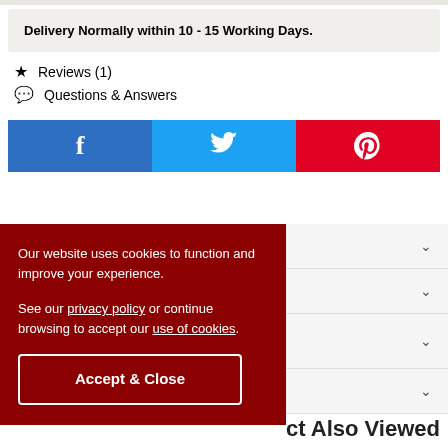Delivery Normally within 10 - 15 Working Days.
★ Reviews (1)
💬 Questions & Answers
[Figure (infographic): Social sharing buttons: Facebook (blue), Twitter (light blue), Pinterest (red)]
[Figure (infographic): Cookie consent banner (dark red) with text: Our website uses cookies to function and improve your experience. See our privacy policy or continue browsing to accept our use of cookies. Accept & Close button.]
ct Also Viewed